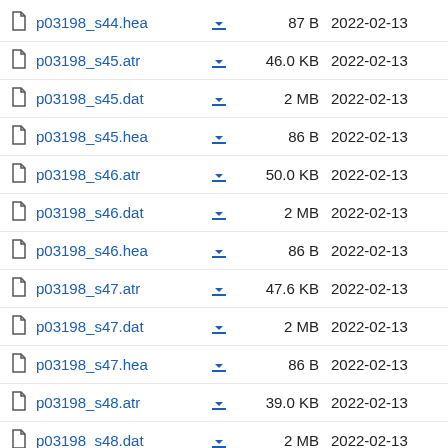p03198_s44.hea  87 B  2022-02-13
p03198_s45.atr  46.0 KB  2022-02-13
p03198_s45.dat  2 MB  2022-02-13
p03198_s45.hea  86 B  2022-02-13
p03198_s46.atr  50.0 KB  2022-02-13
p03198_s46.dat  2 MB  2022-02-13
p03198_s46.hea  86 B  2022-02-13
p03198_s47.atr  47.6 KB  2022-02-13
p03198_s47.dat  2 MB  2022-02-13
p03198_s47.hea  86 B  2022-02-13
p03198_s48.atr  39.0 KB  2022-02-13
p03198_s48.dat  2 MB  2022-02-13
p03198_s48.hea  87 B  2022-02-13
p03198_s49.atr  45.1 KB  2022-02-13